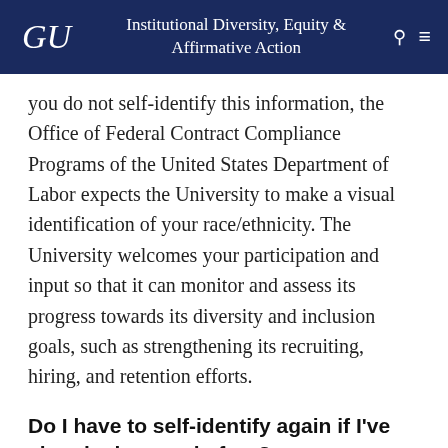GU | Institutional Diversity, Equity & Affirmative Action
you do not self-identify this information, the Office of Federal Contract Compliance Programs of the United States Department of Labor expects the University to make a visual identification of your race/ethnicity. The University welcomes your participation and input so that it can monitor and assess its progress towards its diversity and inclusion goals, such as strengthening its recruiting, hiring, and retention efforts.
Do I have to self-identify again if I’ve already done so before?
Employees who self-identified...